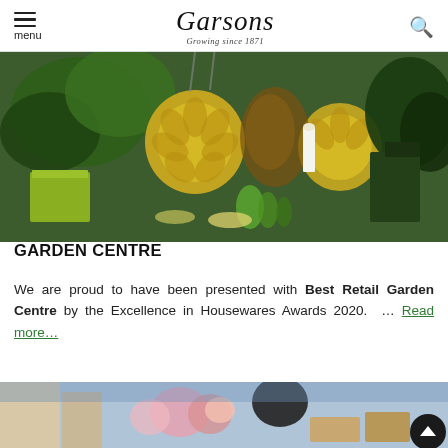menu | Garsons Growing since 1871 | [search icon]
[Figure (photo): Garden centre interior showing gold metallic leaf decorations, green plants, glassware, and home decor items on display tables]
GARSONS NAMED BEST RETAIL GARDEN CENTRE
We are proud to have been presented with Best Retail Garden Centre by the Excellence in Housewares Awards 2020. … Read more...
[Figure (photo): Garden centre interior with flowers, plants and decorative items on display, partially visible at bottom of page]